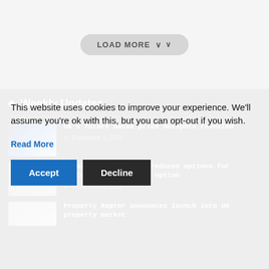LOAD MORE
Weekly Updates
UK's future house price hotspots revealed — September 5, 2022
Treasury: Chancellor reduces options for mortgage-holders help option — September 2, 2022
This website uses cookies to improve your experience. We'll assume you're ok with this, but you can opt-out if you wish.
Read More
Accept
Decline
Property Raptor announces launch into UK property market